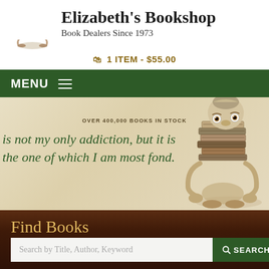[Figure (logo): Elizabeth's Bookshop logo: a vintage illustration of a small character sitting beneath a tall stack of books]
Elizabeth's Bookshop
Book Dealers Since 1973
1 ITEM - $55.00
MENU
[Figure (illustration): Banner with parchment-colored background featuring a whimsical vintage creature peeking over a large stack of books, with text 'OVER 400,000 BOOKS IN STOCK' and italic quote 'is not my only addiction, but it is the one of which I am most fond.']
Find Books
Search by Title, Author, Keyword